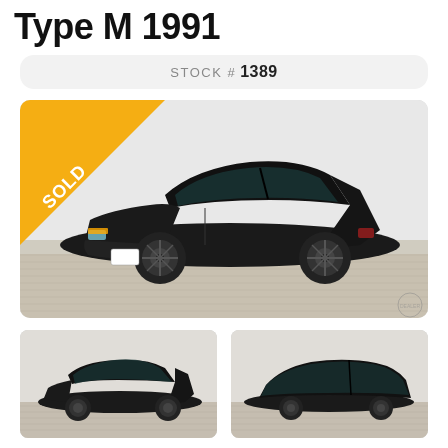Type M 1991
STOCK # 1389
[Figure (photo): Black 1991 Nissan Skyline Type M (R32) coupe photographed in a showroom with grey hardwood floors and white walls. A gold 'SOLD' banner is in the top-left corner. Dealer logo watermark in bottom-right.]
[Figure (photo): Thumbnail: Black 1991 Nissan Skyline R32 coupe, three-quarter front view, showroom setting.]
[Figure (photo): Thumbnail: Black 1991 Nissan Skyline R32 coupe, side profile view, showroom setting.]